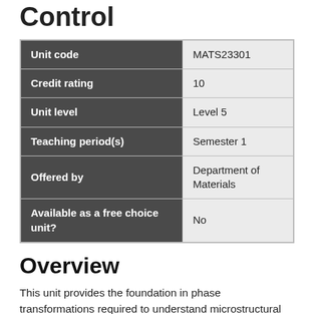Control
|  |  |
| --- | --- |
| Unit code | MATS23301 |
| Credit rating | 10 |
| Unit level | Level 5 |
| Teaching period(s) | Semester 1 |
| Offered by | Department of Materials |
| Available as a free choice unit? | No |
Overview
This unit provides the foundation in phase transformations required to understand microstructural development in metallic, ceramic, and